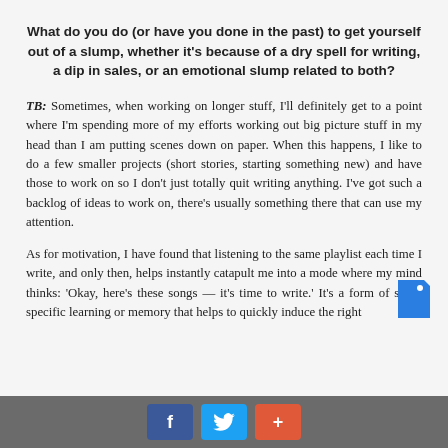What do you do (or have you done in the past) to get yourself out of a slump, whether it's because of a dry spell for writing, a dip in sales, or an emotional slump related to both?
TB: Sometimes, when working on longer stuff, I'll definitely get to a point where I'm spending more of my efforts working out big picture stuff in my head than I am putting scenes down on paper. When this happens, I like to do a few smaller projects (short stories, starting something new) and have those to work on so I don't just totally quit writing anything. I've got such a backlog of ideas to work on, there's usually something there that can use my attention.
As for motivation, I have found that listening to the same playlist each time I write, and only then, helps instantly catapult me into a mode where my mind thinks: 'Okay, here's these songs — it's time to write.' It's a form of state-specific learning or memory that helps to quickly induce the right